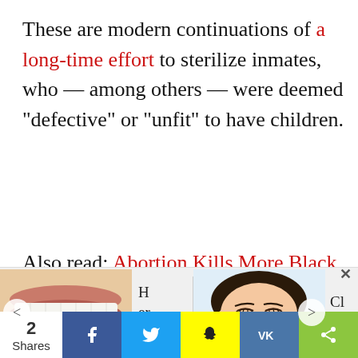These are modern continuations of a long-time effort to sterilize inmates, who — among others — were deemed "defective" or "unfit" to have children.
Also read: Abortion Kills More Black Americans Than Every Other Cause Of
[Figure (screenshot): Ad carousel strip showing a close-up of teeth/mouth on the left with navigation arrows, text 'Here...' beside it, and a sleeping woman illustration on the right with text 'Cl ea']
2 Shares | Facebook share | Twitter share | Snapchat share | VK share | More share